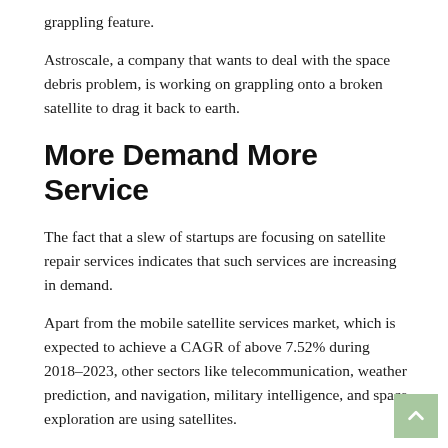grappling feature.
Astroscale, a company that wants to deal with the space debris problem, is working on grappling onto a broken satellite to drag it back to earth.
More Demand More Service
The fact that a slew of startups are focusing on satellite repair services indicates that such services are increasing in demand.
Apart from the mobile satellite services market, which is expected to achieve a CAGR of above 7.52% during 2018–2023, other sectors like telecommunication, weather prediction, and navigation, military intelligence, and space exploration are using satellites.